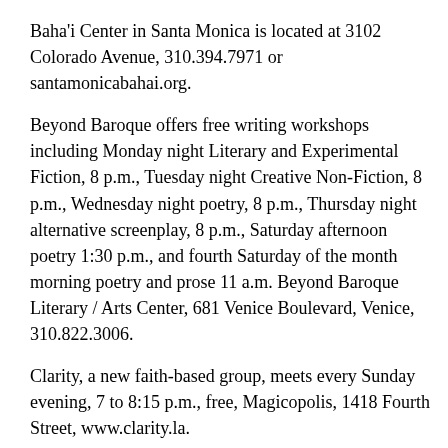Baha'i Center in Santa Monica is located at 3102 Colorado Avenue, 310.394.7971 or santamonicabahai.org.
Beyond Baroque offers free writing workshops including Monday night Literary and Experimental Fiction, 8 p.m., Tuesday night Creative Non-Fiction, 8 p.m., Wednesday night poetry, 8 p.m., Thursday night alternative screenplay, 8 p.m., Saturday afternoon poetry 1:30 p.m., and fourth Saturday of the month morning poetry and prose 11 a.m. Beyond Baroque Literary / Arts Center, 681 Venice Boulevard, Venice, 310.822.3006.
Clarity, a new faith-based group, meets every Sunday evening, 7 to 8:15 p.m., free, Magicopolis, 1418 Fourth Street, www.clarity.la.
Crane Style Qi Gong with Jason Moskovitz, runs from Jan. 15 to March 12, Saturdays, 2:30 to 3:30 p.m., Crane Style Chi Gong is a gentle form that is possible to do in small spaces. The form is relatively easy for people of all ages